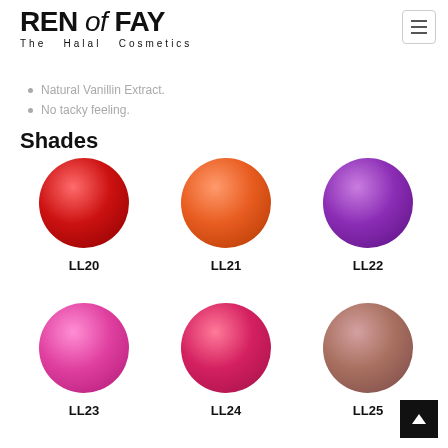[Figure (logo): REN of FAY logo with tagline The Halal Cosmetics]
Natural Vanillin Extract.
No tacky feeling.
Shades
[Figure (illustration): Six nail polish shade swatches in circular form. Row 1: LL20 (red), LL21 (orange), LL22 (purple). Row 2: LL23 (hot pink), LL24 (crimson/deep pink), LL25 (mauve/nude).]